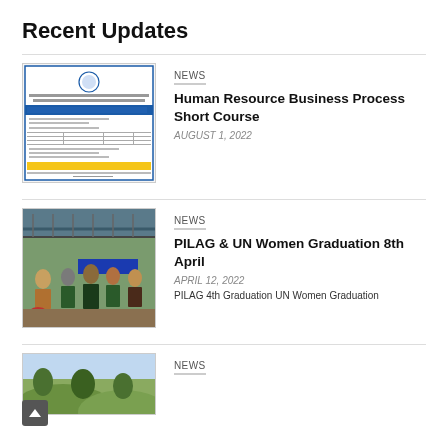Recent Updates
[Figure (screenshot): Screenshot of a document/form with blue header and Philippine seal, resembling a government or university form]
NEWS
Human Resource Business Process Short Course
AUGUST 1, 2022
[Figure (photo): Photo of a graduation ceremony under an open-sided pavilion with people in academic gowns]
NEWS
PILAG & UN Women Graduation 8th April
APRIL 12, 2022
PILAG 4th Graduation UN Women Graduation
[Figure (photo): Partial photo showing a hillside or outdoor landscape]
NEWS